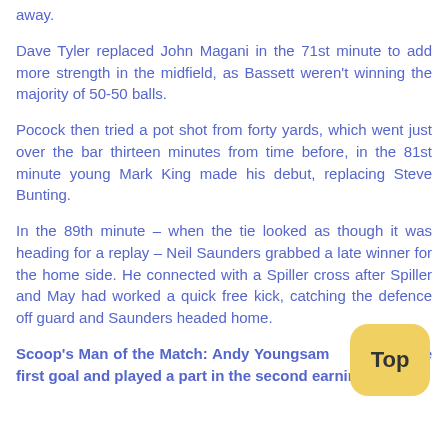away.
Dave Tyler replaced John Magani in the 71st minute to add more strength in the midfield, as Bassett weren't winning the majority of 50-50 balls.
Pocock then tried a pot shot from forty yards, which went just over the bar thirteen minutes from time before, in the 81st minute young Mark King made his debut, replacing Steve Bunting.
In the 89th minute – when the tie looked as though it was heading for a replay – Neil Saunders grabbed a late winner for the home side. He connected with a Spiller cross after Spiller and May had worked a quick free kick, catching the defence off guard and Saunders headed home.
Scoop's Man of the Match: Andy Youngsam up the first goal and played a part in the second earning